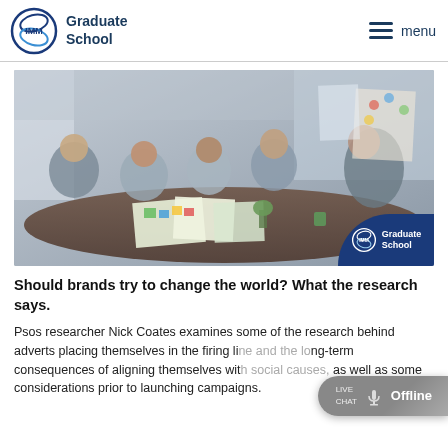IMM Graduate School
[Figure (photo): Group of young professionals sitting around a table collaborating on design documents and materials in a modern office setting. IMM Graduate School logo badge visible in bottom right corner.]
Should brands try to change the world? What the research says.
Psos researcher Nick Coates examines some of the research behind adverts placing themselves in the firing line and the long-term consequences of aligning themselves with social causes, as well as some considerations prior to launching campaigns.